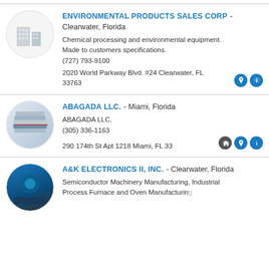ENVIRONMENTAL PRODUCTS SALES CORP - Clearwater, Florida
Chemical processing and environmental equipment. Made to customers specifications.
(727) 793-9100
2020 World Parkway Blvd. #24 Clearwater, FL 33763
ABAGADA LLC. - Miami, Florida
ABAGADA LLC.
(305) 336-1163
290 174th St Apt 1218 Miami, FL 33...
A&K ELECTRONICS II, INC. - Clearwater, Florida
Semiconductor Machinery Manufacturing, Industrial Process Furnace and Oven Manufacturing